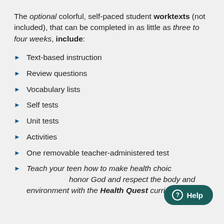The optional colorful, self-paced student worktexts (not included), that can be completed in as little as three to four weeks, include:
Text-based instruction
Review questions
Vocabulary lists
Self tests
Unit tests
Activities
One removable teacher-administered test
Teach your teen how to make health choices that honor God and respect the body and environment with the Health Quest curriculum